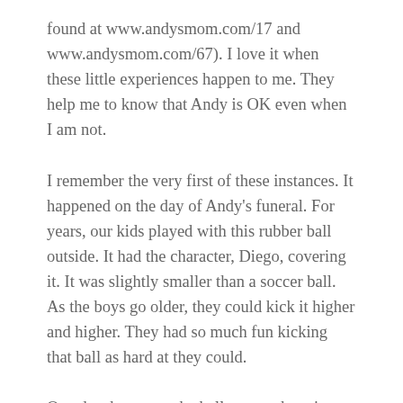found at www.andysmom.com/17 and www.andysmom.com/67). I love it when these little experiences happen to me. They help me to know that Andy is OK even when I am not.
I remember the very first of these instances. It happened on the day of Andy's funeral. For years, our kids played with this rubber ball outside. It had the character, Diego, covering it. It was slightly smaller than a soccer ball. As the boys go older, they could kick it higher and higher. They had so much fun kicking that ball as hard at they could.
One day, however, the ball got stuck up in a tree. We live in a two story house with a walkout basement so essentially, from the backyard, our bedrooms are on the third story. I could see that ball out of my bathroom window each day. It was permanently wedged there, and after months and then over 2